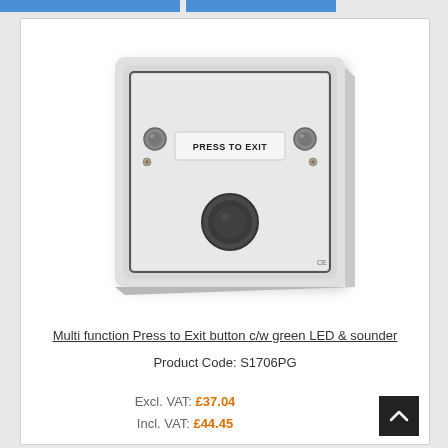[Figure (photo): A white wall-mounted multi-function Press to Exit button unit with a label reading PRESS TO EXIT, two circular indicators on each side, screws at corners, and a large circular button/sounder at the bottom center.]
Multi function Press to Exit button c/w green LED & sounder
Product Code: S1706PG
Excl. VAT: £37.04
Incl. VAT: £44.45